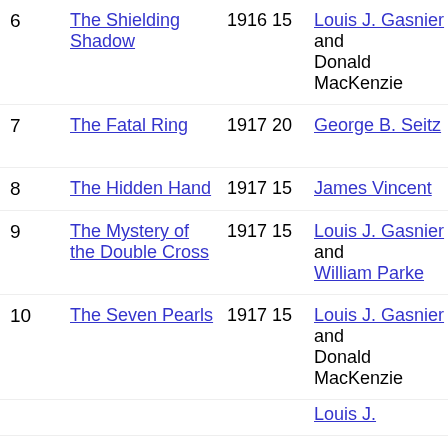| # | Title | Year | Episodes | Director | Cast |
| --- | --- | --- | --- | --- | --- |
| 6 | The Shielding Shadow | 1916 | 15 | Louis J. Gasnier and Donald MacKenzie |  |
| 7 | The Fatal Ring | 1917 | 20 | George B. Seitz | Pea... Wh... |
| 8 | The Hidden Hand | 1917 | 15 | James Vincent |  |
| 9 | The Mystery of the Double Cross | 1917 | 15 | Louis J. Gasnier and William Parke |  |
| 10 | The Seven Pearls | 1917 | 15 | Louis J. Gasnier and Donald MacKenzie |  |
| 11 |  | 1917 |  | Louis J. ... |  |